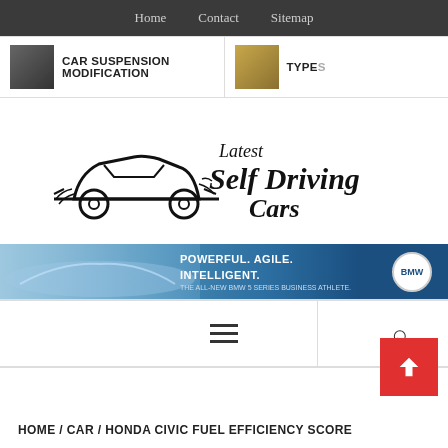Home   Contact   Sitemap
[Figure (screenshot): Top banner showing CAR SUSPENSION MODIFICATION with thumbnail on left, and TYPES with thumbnail on right]
[Figure (logo): Latest Self Driving Cars logo with car silhouette and script text]
[Figure (photo): BMW advertisement banner: POWERFUL. AGILE. INTELLIGENT. THE ALL-NEW BMW 5 SERIES BUSINESS ATHLETE.]
[Figure (screenshot): Navigation bar with hamburger menu icon on left-center and search icon on right]
[Figure (other): Red back-to-top button with upward chevron arrow]
HOME / CAR / HONDA CIVIC FUEL EFFICIENCY SCORE